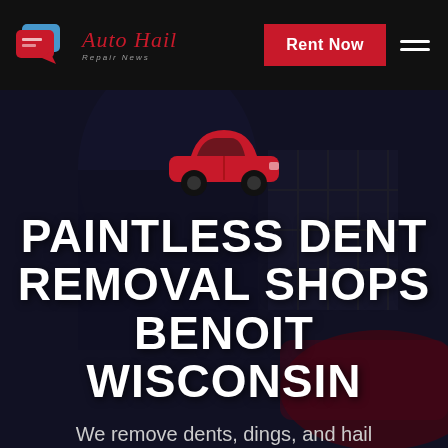Auto Hail Repair News
PAINTLESS DENT REMOVAL SHOPS BENOIT WISCONSIN
We remove dents, dings, and hail damage!